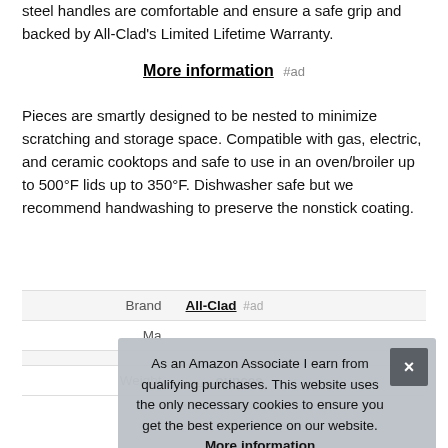steel handles are comfortable and ensure a safe grip and backed by All-Clad's Limited Lifetime Warranty.
More information #ad
Pieces are smartly designed to be nested to minimize scratching and storage space. Compatible with gas, electric, and ceramic cooktops and safe to use in an oven/broiler up to 500°F lids up to 350°F. Dishwasher safe but we recommend handwashing to preserve the nonstick coating.
|  |  |
| --- | --- |
| Brand | All-Clad #ad |
| Ma... |  |
|  |  |
| Weight | ...ounces |
As an Amazon Associate I earn from qualifying purchases. This website uses the only necessary cookies to ensure you get the best experience on our website. More information